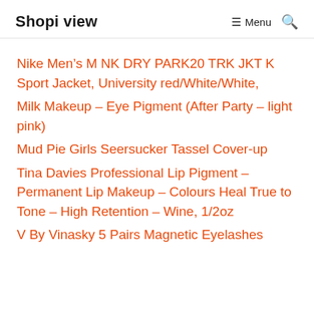Shopi view  ☰ Menu  🔍
Nike Men's M NK DRY PARK20 TRK JKT K Sport Jacket, University red/White/White,
Milk Makeup – Eye Pigment (After Party – light pink)
Mud Pie Girls Seersucker Tassel Cover-up
Tina Davies Professional Lip Pigment – Permanent Lip Makeup – Colours Heal True to Tone – High Retention – Wine, 1/2oz
V By Vinasky 5 Pairs Magnetic Eyelashes